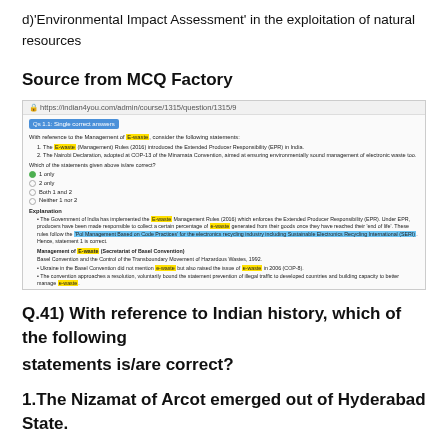d)'Environmental Impact Assessment' in the exploitation of natural resources
Source from MCQ Factory
[Figure (screenshot): Screenshot of MCQ Factory question about E-waste Management, showing question, answer options (1 only selected), explanation with highlighted terms, subject and difficulty level fields.]
Q.41) With reference to Indian history, which of the following statements is/are correct?
1.The Nizamat of Arcot emerged out of Hyderabad State.